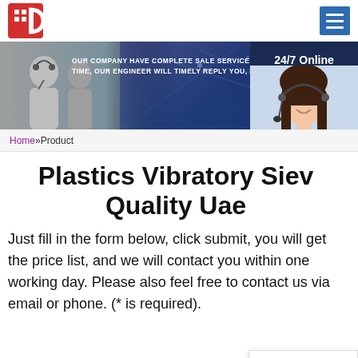[Figure (logo): Company logo: red square icon with grid/letter D motif]
[Figure (screenshot): Website banner with customer service agents photo and tech network background, text: OUR COMPANY HAVE COMPLETE SALE SERVICE SYSTEM, ANY QUEST TIME, OUR ENGINEER WILL TIMELY REPLY YOU, RECOMMEND S, with 24/7 Online label and agent photo]
Home »Product
Plastics Vibratory Sieve Quality Uae
Click here for free chat !
QUOTATION
Just fill in the form below, click submit, you will get the price list, and we will contact you within one working day. Please also feel free to contact us via email or phone. (* is required).